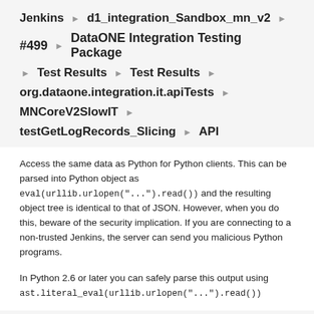Jenkins › d1_integration_Sandbox_mn_v2 ›
#499 › DataONE Integration Testing Package
› Test Results › Test Results ›
org.dataone.integration.it.apiTests ›
MNCoreV2SlowIT ›
testGetLogRecords_Slicing › API
Access the same data as Python for Python clients. This can be parsed into Python object as eval(urllib.urlopen("...").read()) and the resulting object tree is identical to that of JSON. However, when you do this, beware of the security implication. If you are connecting to a non-trusted Jenkins, the server can send you malicious Python programs.
In Python 2.6 or later you can safely parse this output using ast.literal_eval(urllib.urlopen("...").read())